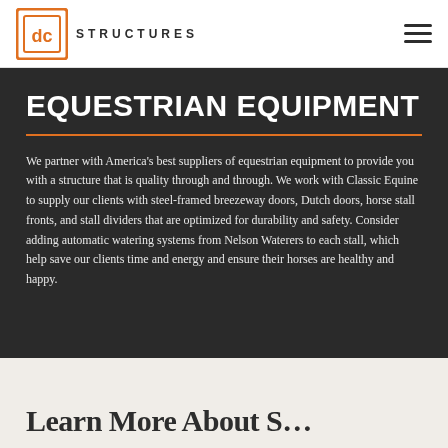DC Structures
EQUESTRIAN EQUIPMENT
We partner with America's best suppliers of equestrian equipment to provide you with a structure that is quality through and through. We work with Classic Equine to supply our clients with steel-framed breezeway doors, Dutch doors, horse stall fronts, and stall dividers that are optimized for durability and safety. Consider adding automatic watering systems from Nelson Waterers to each stall, which help save our clients time and energy and ensure their horses are healthy and happy.
Learn More About S…